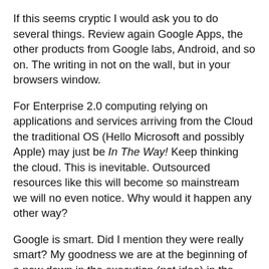If this seems cryptic I would ask you to do several things. Review again Google Apps, the other products from Google labs, Android, and so on. The writing in not on the wall, but in your browsers window.
For Enterprise 2.0 computing relying on applications and services arriving from the Cloud the traditional OS (Hello Microsoft and possibly Apple) may just be In The Way!  Keep thinking the cloud.  This is inevitable.  Outsourced resources like this will become so mainstream we will no even notice.  Why would it happen any other way?
Google is smart. Did I mention they were really smart?  My goodness we are at the beginning of a new dawn in the execution (not idea) in the paradigm of computing.  Yeah it does sort of look like where we started with terminals and mainframes – who cares.  It makes perfect sense